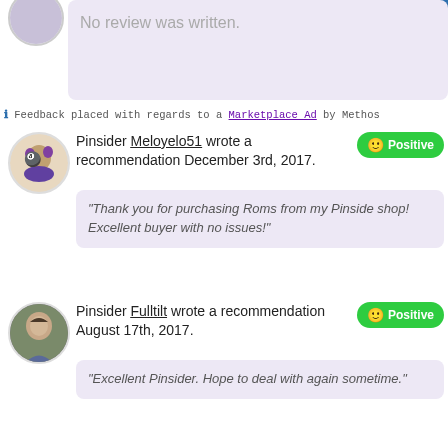No review was written.
Feedback placed with regards to a Marketplace Ad by Methos
Pinsider Meloyelo51 wrote a recommendation December 3rd, 2017.
Positive
“Thank you for purchasing Roms from my Pinside shop! Excellent buyer with no issues!”
Pinsider Fulltilt wrote a recommendation August 17th, 2017.
Positive
“Excellent Pinsider. Hope to deal with again sometime.”